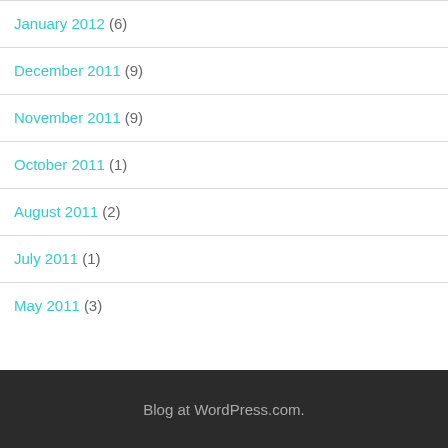January 2012 (6)
December 2011 (9)
November 2011 (9)
October 2011 (1)
August 2011 (2)
July 2011 (1)
May 2011 (3)
Blog at WordPress.com.